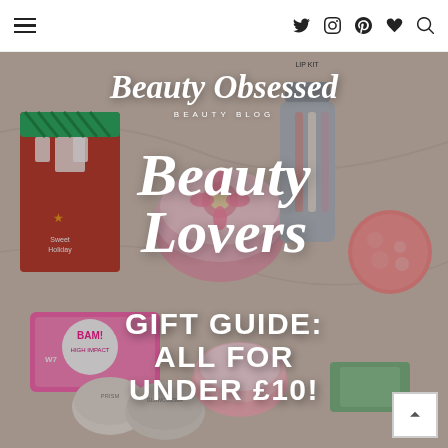Beauty Obsessed Beauty Blog — navigation header with hamburger menu and social icons (Twitter, Instagram, Pinterest, heart/favorites, search)
[Figure (photo): Flat lay of various beauty/makeup products on a marble surface: holiday gift sets, W7 BAM! High Impact palette, W7 Glowcosser, Prism compact, lip kit, pink circular tins, red holiday card packaging, bubble cleanser, and other cosmetic items. Overlaid with blog branding and article title text.]
Beauty Obsessed
BEAUTY BLOG
Beauty Lovers
GIFT GUIDE: ALL FOR UNDER £10!